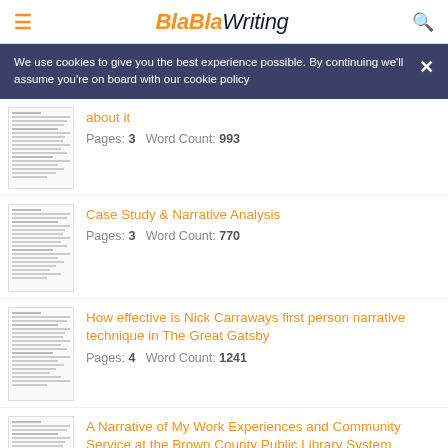BlaBlaWriting
We use cookies to give you the best experience possible. By continuing we'll assume you're on board with our cookie policy
about it — Pages: 3  Word Count: 993
Case Study & Narrative Analysis — Pages: 3  Word Count: 770
How effective is Nick Carraways first person narrative technique in The Great Gatsby — Pages: 4  Word Count: 1241
A Narrative of My Work Experiences and Community Service at the Brown County Public Library System — Pages: 8  Word Count: 755